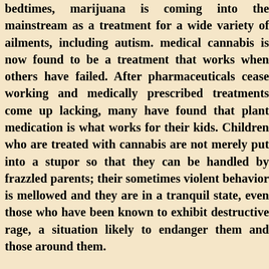bedtimes, marijuana is coming into the mainstream as a treatment for a wide variety of ailments, including autism. medical cannabis is now found to be a treatment that works when others have failed. After pharmaceuticals cease working and medically prescribed treatments come up lacking, many have found that plant medication is what works for their kids. Children who are treated with cannabis are not merely put into a stupor so that they can be handled by frazzled parents; their sometimes violent behavior is mellowed and they are in a tranquil state, even those who have been known to exhibit destructive rage, a situation likely to endanger them and those around them.
In states allowing patients to receive medical cannabis, doctors are free to prescribe it to any who they feel can benefit. Parents can give the substance to their children in an edible form. Many pharmacists are working on a variety of edible cannabis products designed to treat specific maladies. In the absence of dispensaries with such advanced treatment possibilities, a parent can obtain marijuana and infuse it into butter or oil, then add it to food, including cookies and brownies. Children who live with autism can be helped by medical cannabis, which is non-toxic, non-